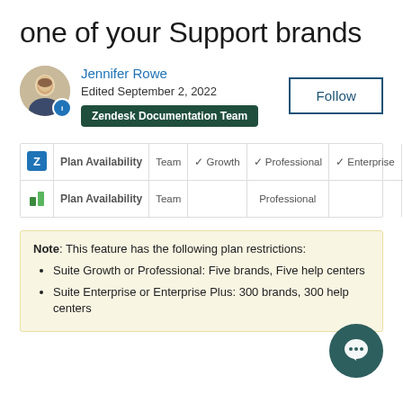one of your Support brands
Jennifer Rowe
Edited September 2, 2022
Zendesk Documentation Team
Follow
|  | Plan Availability | Team | Growth | Professional | Enterprise | Enterprise Plus |
| --- | --- | --- | --- | --- | --- | --- |
| Z icon | Plan Availability | Team | ✓ Growth | ✓ Professional | ✓ Enterprise | ✓ Enterprise Plus |
| leaf icon | Plan Availability | Team |  | Professional |  | ✓ Enterprise |
Note: This feature has the following plan restrictions:
Suite Growth or Professional: Five brands, Five help centers
Suite Enterprise or Enterprise Plus: 300 brands, 300 help centers